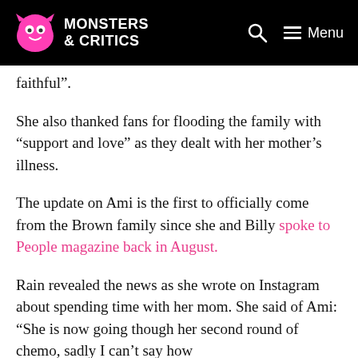MONSTERS & CRITICS
faithful”.
She also thanked fans for flooding the family with “support and love” as they dealt with her mother’s illness.
The update on Ami is the first to officially come from the Brown family since she and Billy spoke to People magazine back in August.
Rain revealed the news as she wrote on Instagram about spending time with her mom. She said of Ami: “She is now going though her second round of chemo, sadly I can’t say how